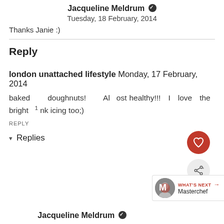Jacqueline Meldrum ✓
Tuesday, 18 February, 2014
Thanks Janie :)
Reply
london unattached lifestyle Monday, 17 February, 2014
baked doughnuts! Almost healthy!!! I love the bright pink icing too;)
REPLY
Replies
Jacqueline Meldrum ✓